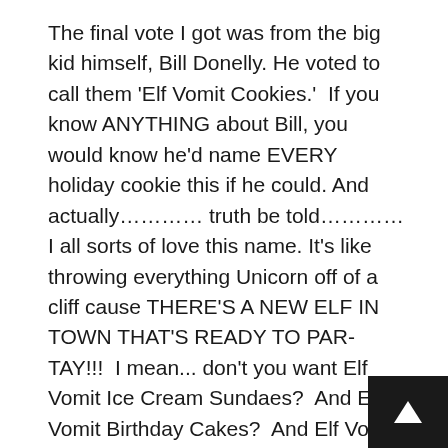The final vote I got was from the big kid himself, Bill Donelly. He voted to call them 'Elf Vomit Cookies.'  If you know ANYTHING about Bill, you would know he'd name EVERY holiday cookie this if he could. And actually........... truth be told........... I all sorts of love this name. It's like throwing everything Unicorn off of a cliff cause THERE'S A NEW ELF IN TOWN THAT'S READY TO PAR-TAY!!!  I mean... don't you want Elf Vomit Ice Cream Sundaes?  And Elf Vomit Birthday Cakes?  And Elf Vomit Avocado Toast?
BUT... I ponder here because it's not a 'Everything But the Kitchen Sink' cookie per seeeeee.... It's a meeting of the minty minds... It's a seductive tango to